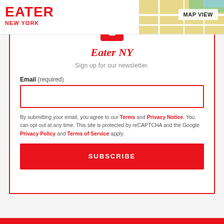EATER NEW YORK
Eater NY
Sign up for our newsletter.
Email (required)
By submitting your email, you agree to our Terms and Privacy Notice. You can opt out at any time. This site is protected by reCAPTCHA and the Google Privacy Policy and Terms of Service apply.
SUBSCRIBE